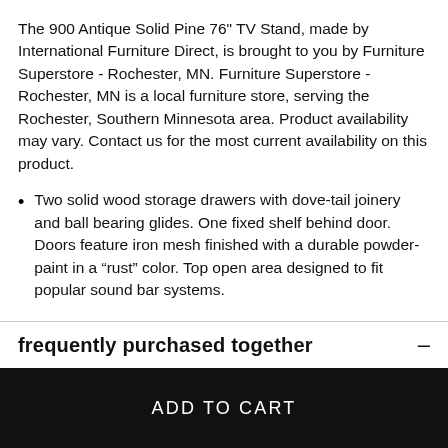The 900 Antique Solid Pine 76" TV Stand, made by International Furniture Direct, is brought to you by Furniture Superstore - Rochester, MN. Furniture Superstore - Rochester, MN is a local furniture store, serving the Rochester, Southern Minnesota area. Product availability may vary. Contact us for the most current availability on this product.
Two solid wood storage drawers with dove-tail joinery and ball bearing glides. One fixed shelf behind door. Doors feature iron mesh finished with a durable powder-paint in a “rust” color. Top open area designed to fit popular sound bar systems.
frequently purchased together
ADD TO CART